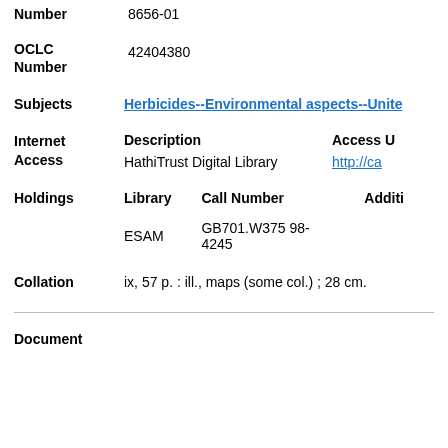8656-01
OCLC Number
42404380
Subjects
Herbicides--Environmental aspects--Unite
Internet Access
| Description | Access U |
| --- | --- |
| HathiTrust Digital Library | http://ca |
Holdings
| Library | Call Number | Additi |
| --- | --- | --- |
| ESAM | GB701.W375 98-4245 |  |
Collation
ix, 57 p. : ill., maps (some col.) ; 28 cm.
Document